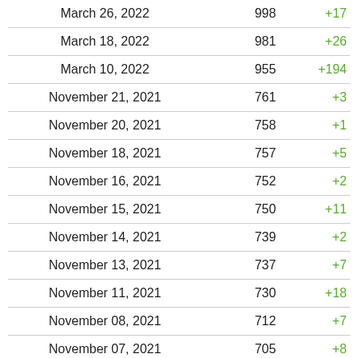| Date | Total | Change |
| --- | --- | --- |
| March 26, 2022 | 998 | +17 |
| March 18, 2022 | 981 | +26 |
| March 10, 2022 | 955 | +194 |
| November 21, 2021 | 761 | +3 |
| November 20, 2021 | 758 | +1 |
| November 18, 2021 | 757 | +5 |
| November 16, 2021 | 752 | +2 |
| November 15, 2021 | 750 | +11 |
| November 14, 2021 | 739 | +2 |
| November 13, 2021 | 737 | +7 |
| November 11, 2021 | 730 | +18 |
| November 08, 2021 | 712 | +7 |
| November 07, 2021 | 705 | +8 |
| November 06, 2021 | 697 | +1 |